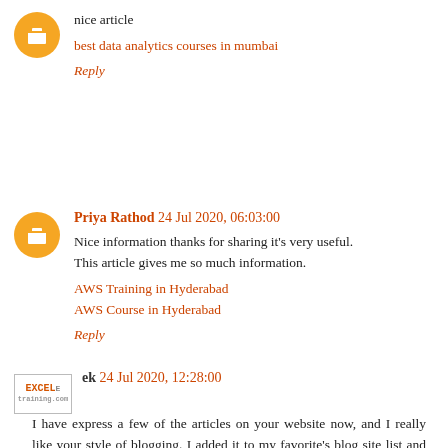nice article
best data analytics courses in mumbai
Reply
Priya Rathod 24 Jul 2020, 06:03:00
Nice information thanks for sharing it's very useful. This article gives me so much information.
AWS Training in Hyderabad
AWS Course in Hyderabad
Reply
ek 24 Jul 2020, 12:28:00
I have express a few of the articles on your website now, and I really like your style of blogging. I added it to my favorite's blog site list and will be checking back soon.